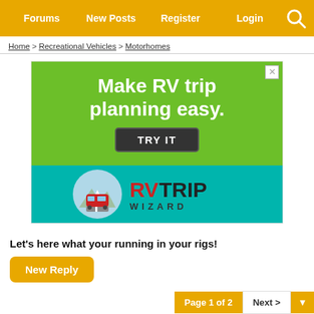Forums  New Posts  Register  Login
Home > Recreational Vehicles > Motorhomes
[Figure (infographic): Advertisement for RV Trip Wizard. Green top half reads 'Make RV trip planning easy.' with a black 'TRY IT' button. Teal bottom half shows the RV Trip Wizard logo with a circular RV icon and red/dark text 'RVTRIP WIZARD'.]
Let's here what your running in your rigs!
New Reply
Page 1 of 2  Next >